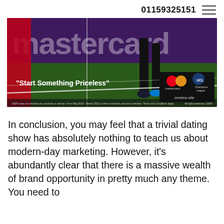01159325151
[Figure (photo): Mastercard Champions League advertisement banner showing a football player's legs on a green pitch with the Mastercard logo and text 'Start Something Priceless'. Small print reads 'UEFA does not endorse any products or service. From May 2018 - March 2020 or when maximum amount is reached. Terms and Conditions apply. All rights reserved, UEFA.']
In conclusion, you may feel that a trivial dating show has absolutely nothing to teach us about modern-day marketing. However, it's abundantly clear that there is a massive wealth of brand opportunity in pretty much any theme. You need to